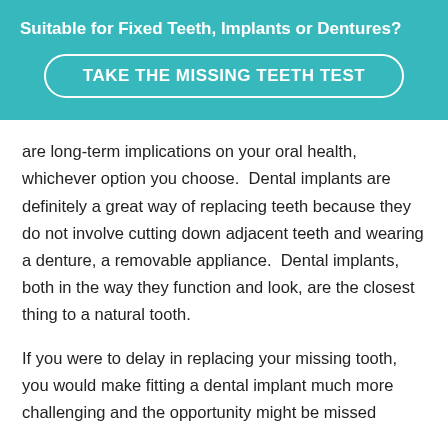Suitable for Fixed Teeth, Implants or Dentures?
TAKE THE MISSING TEETH TEST
are long-term implications on your oral health, whichever option you choose.  Dental implants are definitely a great way of replacing teeth because they do not involve cutting down adjacent teeth and wearing a denture, a removable appliance.  Dental implants, both in the way they function and look, are the closest thing to a natural tooth.
If you were to delay in replacing your missing tooth, you would make fitting a dental implant much more challenging and the opportunity might be missed